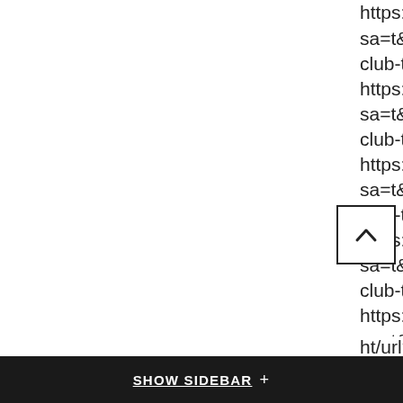https://cse.google.lk/url?
sa=t&url=https://casinoblognews2525.blogsp
club-treat-hot-shots-contrasted.html
https://cse.google.kz/url?
sa=t&url=https://casinoblognews2525.blogsp
club-treat-hot-shots-contrasted.html
https://cse.google.kg/url?
sa=t&url=https://casinoblognews2525.blogsp
club-treat-hot-shots-contrasted.html
https://cse.google.jo/url?
sa=t&url=https://casinoblognews2525.blogsp
club-treat-hot-shots-contrasted.html
https://cse.google.is/url?
sa=t&url=https://casinoblognews2525.blogsp
club-treat-hot-shots-contrasted.html
https://cse.google.ie/url?
sa=t&url=https://casinoblognews2525.blogsp
club-treat-hot-shots-contrasted.html
https://cse.google.hu/url?
sa=t&url=https://casinoblognews2525.blogsp
club-treat-hot-shots-contrasted.html
SHOW SIDEBAR +